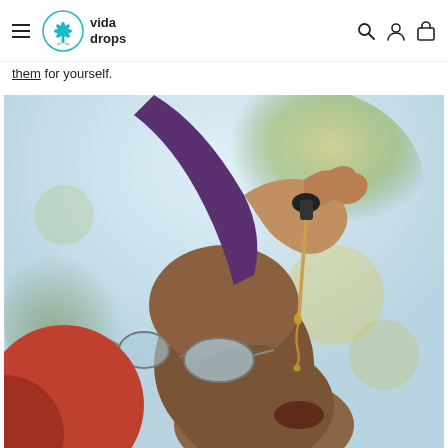vida drops [navigation header with hamburger menu, logo, search, account, and cart icons]
them for yourself.
[Figure (photo): A man with a shaved head wearing sunglasses pushed down on his nose and a red jacket, tilting his head back with mouth open, while a hand holds a dropper bottle dispensing an amber liquid drop toward his mouth. The background is an outdoor scene with blurred autumn trees in soft yellow and green tones.]